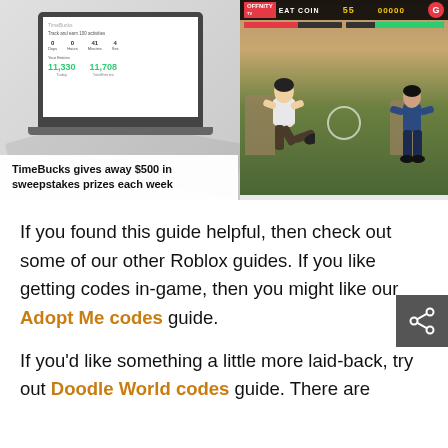[Figure (screenshot): Banner advertisement showing a laptop with TimeBucks dashboard on left and a fighting game screenshot on right, with text overlay 'TimeBucks gives away $500 in sweepstakes prizes each week']
TimeBucks gives away $500 in sweepstakes prizes each week
If you found this guide helpful, then check out some of our other Roblox guides. If you like getting codes in-game, then you might like our Adopt Me codes guide.
If you'd like something a little more laid-back, try out Doodle World codes guide. There are